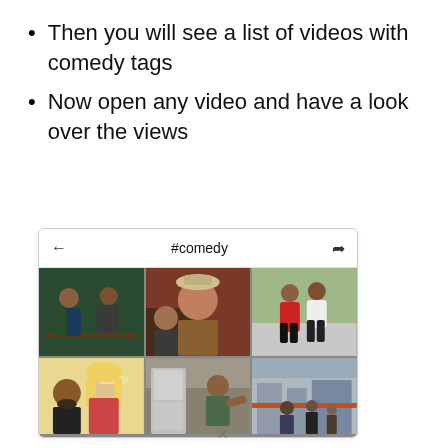Then you will see a list of videos with comedy tags
Now open any video and have a look over the views
[Figure (screenshot): Mobile app screenshot showing #comedy hashtag page with a 3-column grid of video thumbnails featuring people in various poses.]